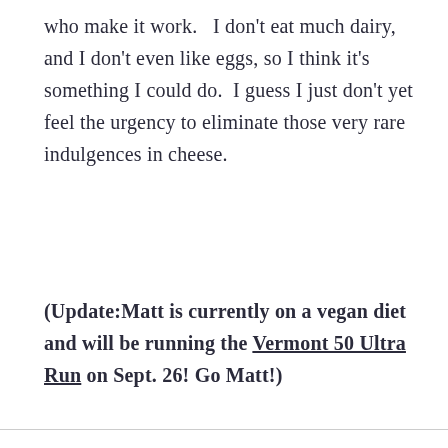who make it work.   I don't eat much dairy, and I don't even like eggs, so I think it's something I could do.  I guess I just don't yet feel the urgency to eliminate those very rare indulgences in cheese.
(Update:Matt is currently on a vegan diet and will be running the Vermont 50 Ultra Run on Sept. 26! Go Matt!)